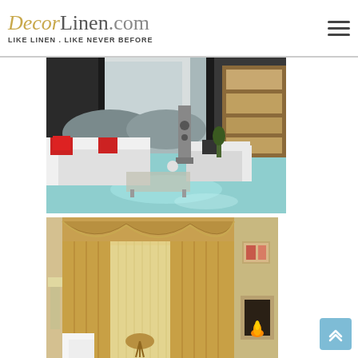DecorLinen.com — LIKE LINEN. LIKE NEVER BEFORE
[Figure (photo): Modern living room interior with dark curtains, white sofas with red and black accent pillows, floor speaker, wooden shelving unit, and glossy teal floor]
[Figure (photo): Beige/gold decorative curtains with elaborate valance in a room with fireplace and white armchair]